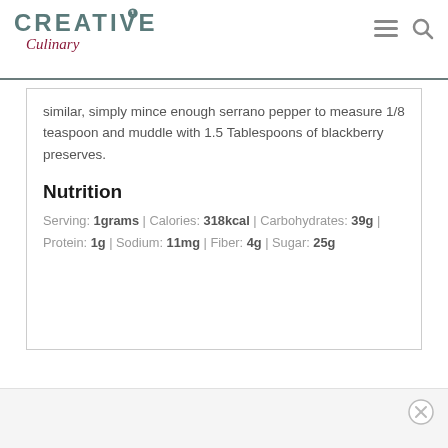Creative Culinary
similar, simply mince enough serrano pepper to measure 1/8 teaspoon and muddle with 1.5 Tablespoons of blackberry preserves.
Nutrition
Serving: 1grams | Calories: 318kcal | Carbohydrates: 39g | Protein: 1g | Sodium: 11mg | Fiber: 4g | Sugar: 25g